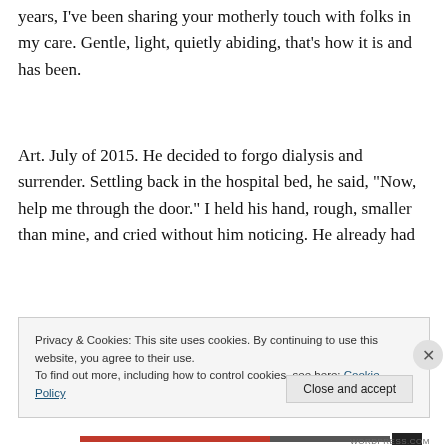years, I've been sharing your motherly touch with folks in my care. Gentle, light, quietly abiding, that's how it is and has been.
Art. July of 2015. He decided to forgo dialysis and surrender. Settling back in the hospital bed, he said, “Now, help me through the door.” I held his hand, rough, smaller than mine, and cried without him noticing. He already had
Privacy & Cookies: This site uses cookies. By continuing to use this website, you agree to their use.
To find out more, including how to control cookies, see here: Cookie Policy
Close and accept